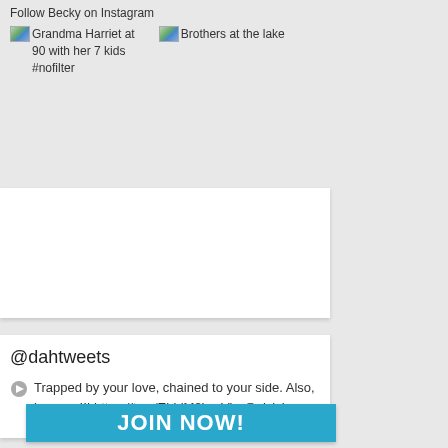Follow Becky on Instagram
[Figure (photo): Grandma Harriet at 90 with her 7 kids #nofilter]
[Figure (photo): Brothers at the lake]
@dahtweets
Trapped by your love, chained to your side. Also, horseys!!! https://t.co/EhjriM8lyy Via @sjzick
ABOUT 4 HOURS AGO
JOIN NOW!